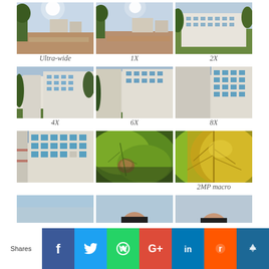[Figure (photo): Ultra-wide camera shot of open field with trees and buildings under bright sky]
[Figure (photo): 1X zoom camera shot of open field with trees and buildings]
[Figure (photo): 2X zoom camera shot showing white apartment buildings]
Ultra-wide
1X
2X
[Figure (photo): 4X zoom camera shot of white apartment buildings]
[Figure (photo): 6X zoom camera shot of white apartment buildings]
[Figure (photo): 8X zoom camera shot of white apartment buildings]
4X
6X
8X
[Figure (photo): 10X or further zoom camera shot of white apartment buildings]
[Figure (photo): Macro shot of leaves with brown seed pod]
[Figure (photo): 2MP macro camera shot of leaf close-up]
2MP macro
[Figure (photo): Partial photo row at bottom - sky/blue]
[Figure (photo): Partial photo row at bottom - person]
[Figure (photo): Partial photo row at bottom - person]
Shares  [Facebook] [Twitter] [WhatsApp] [Google+] [LinkedIn] [Reddit] [Crown]